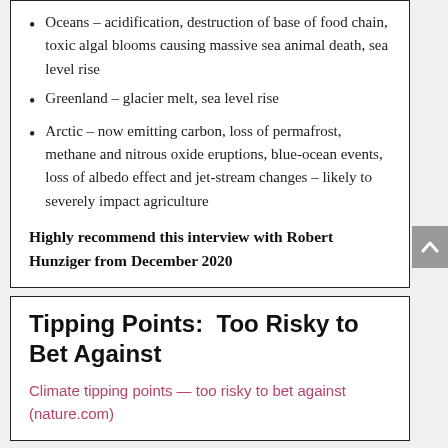Oceans – acidification, destruction of base of food chain, toxic algal blooms causing massive sea animal death, sea level rise
Greenland – glacier melt, sea level rise
Arctic – now emitting carbon, loss of permafrost, methane and nitrous oxide eruptions, blue-ocean events, loss of albedo effect and jet-stream changes – likely to severely impact agriculture
Highly recommend this interview with Robert Hunziger from December 2020
Tipping Points:  Too Risky to Bet Against
Climate tipping points — too risky to bet against (nature.com)